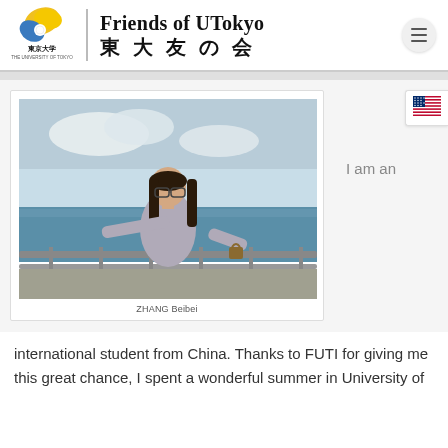Friends of UTokyo 東大友の会
[Figure (photo): Young woman with long dark hair and glasses, wearing a grey jacket, standing at a waterfront railing with the ocean and sky in the background]
ZHANG Beibei
I am an international student from China. Thanks to FUTI for giving me this great chance, I spent a wonderful summer in University of